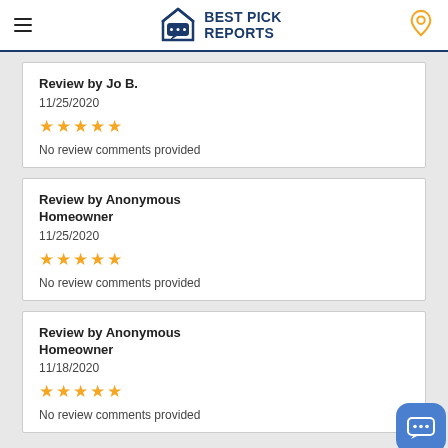Best Pick Reports
Review by Jo B.
11/25/2020
★★★★★
No review comments provided
Review by Anonymous Homeowner
11/25/2020
★★★★★
No review comments provided
Review by Anonymous Homeowner
11/18/2020
★★★★★
No review comments provided